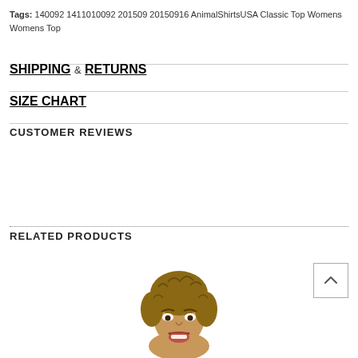Tags: 140092 1411010092 201509 20150916 AnimalShirtsUSA Classic Top Womens Womens Top
SHIPPING & RETURNS
SIZE CHART
CUSTOMER REVIEWS
RELATED PRODUCTS
[Figure (photo): Top portion of a woman's face with curly brown hair, appearing at the bottom of the page as part of a related product image.]